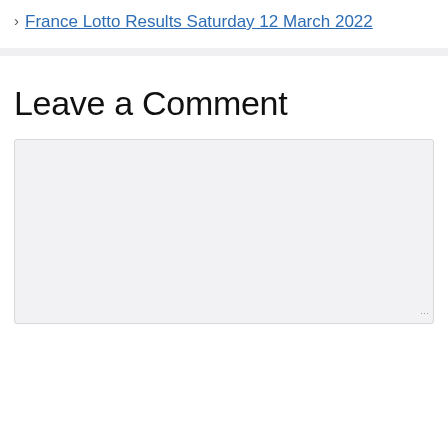France Lotto Results Saturday 12 March 2022
Leave a Comment